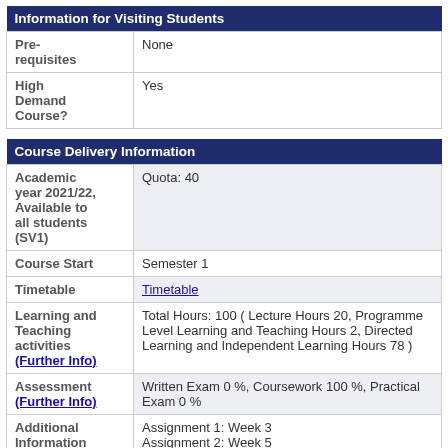| Information for Visiting Students |
| --- |
| Pre-requisites | None |
| High Demand Course? | Yes |
| Course Delivery Information |
| --- |
| Academic year 2021/22, Available to all students (SV1) | Quota:  40 |
| Course Start | Semester 1 |
| Timetable | Timetable |
| Learning and Teaching activities (Further Info) | Total Hours: 100 ( Lecture Hours 20, Programme Level Learning and Teaching Hours 2, Directed Learning and Independent Learning Hours 78 ) |
| Assessment (Further Info) | Written Exam 0 %, Coursework 100 %, Practical Exam 0 % |
| Additional Information (Assessment) | Assignment 1: Week 3
Assignment 2: Week 5
Assignment 3: Week 7
Assignment 4: Week 8 |